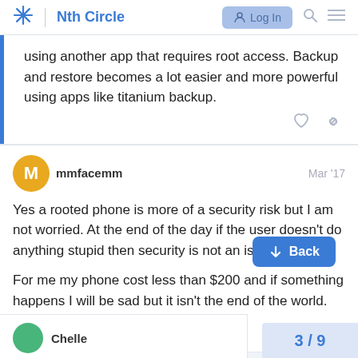Nth Circle | Log In
using another app that requires root access. Backup and restore becomes a lot easier and more powerful using apps like titanium backup.
mmfacemm   Mar '17
Yes a rooted phone is more of a security risk but I am not worried. At the end of the day if the user doesn't do anything stupid then security is not an issue.

For me my phone cost less than $200 and if something happens I will be sad but it isn't the end of the world.
Chelle
3 / 9